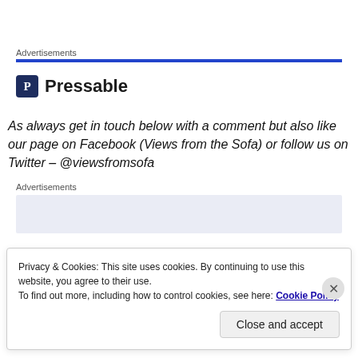Advertisements
[Figure (logo): Pressable logo with P icon and Pressable text]
As always get in touch below with a comment but also like our page on Facebook (Views from the Sofa) or follow us on Twitter – @viewsfromsofa
Advertisements
Privacy & Cookies: This site uses cookies. By continuing to use this website, you agree to their use. To find out more, including how to control cookies, see here: Cookie Policy
Close and accept